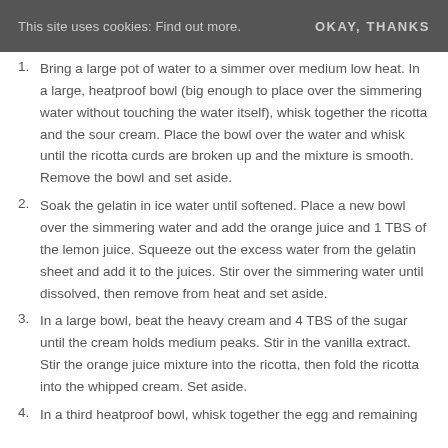This site uses cookies: Find out more.    OKAY, THANKS
Bring a large pot of water to a simmer over medium low heat. In a large, heatproof bowl (big enough to place over the simmering water without touching the water itself), whisk together the ricotta and the sour cream. Place the bowl over the water and whisk until the ricotta curds are broken up and the mixture is smooth. Remove the bowl and set aside.
Soak the gelatin in ice water until softened. Place a new bowl over the simmering water and add the orange juice and 1 TBS of the lemon juice. Squeeze out the excess water from the gelatin sheet and add it to the juices. Stir over the simmering water until dissolved, then remove from heat and set aside.
In a large bowl, beat the heavy cream and 4 TBS of the sugar until the cream holds medium peaks. Stir in the vanilla extract. Stir the orange juice mixture into the ricotta, then fold the ricotta into the whipped cream. Set aside.
In a third heatproof bowl, whisk together the egg and remaining